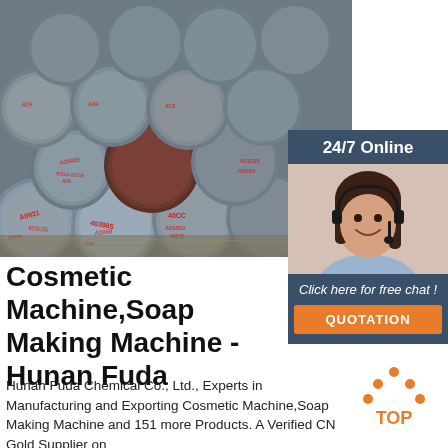[Figure (photo): Product image of steel round bars/rods stacked together with red Chinese character markings stamped on the ends]
[Figure (illustration): 24/7 Online customer service panel with photo of female agent wearing headset and 'Click here for free chat!' text and orange QUOTATION button]
Cosmetic Machine,Soap Making Machine - Hunan Fuda
Hunan Fuda Chemical Co., Ltd., Experts in Manufacturing and Exporting Cosmetic Machine,Soap Making Machine and 151 more Products. A Verified CN Gold Supplier on
[Figure (logo): TOP badge with orange dots triangle and orange text TOP]